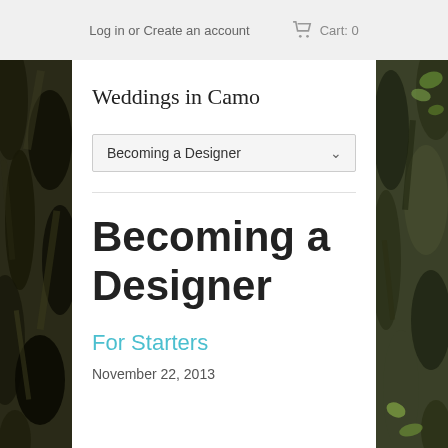Log in or Create an account  Cart: 0
Weddings in Camo
Becoming a Designer
Becoming a Designer
For Starters
November 22, 2013